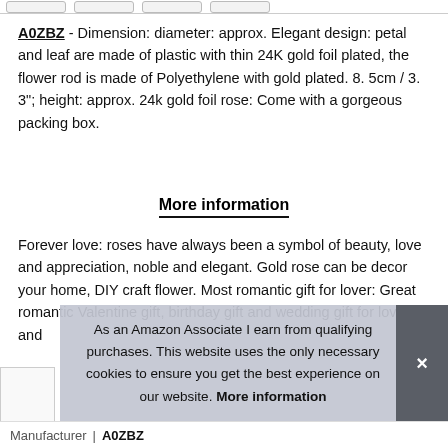A0ZBZ - Dimension: diameter: approx. Elegant design: petal and leaf are made of plastic with thin 24K gold foil plated, the flower rod is made of Polyethylene with gold plated. 8. 5cm / 3. 3"; height: approx. 24k gold foil rose: Come with a gorgeous packing box.
More information
Forever love: roses have always been a symbol of beauty, love and appreciation, noble and elegant. Gold rose can be decor your home, DIY craft flower. Most romantic gift for lover: Great romantic Valentine gift, birthday gift and wedding gift for lover and
As an Amazon Associate I earn from qualifying purchases. This website uses the only necessary cookies to ensure you get the best experience on our website. More information
Manufacturer  A0ZBZ